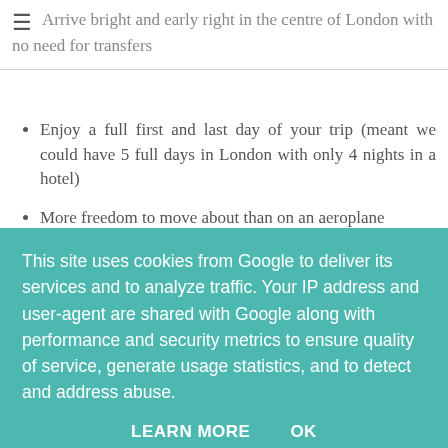Arrive bright and early right in the centre of London with no need for transfers
Enjoy a full first and last day of your trip (meant we could have 5 full days in London with only 4 nights in a hotel)
More freedom to move about than on an aeroplane
Great value for money when booked in advance
The cons...
If travelling alone in standard class you may have to share with someone of the same sex
Can't lock doors of cabins from the outside
This site uses cookies from Google to deliver its services and to analyze traffic. Your IP address and user-agent are shared with Google along with performance and security metrics to ensure quality of service, generate usage statistics, and to detect and address abuse.
LEARN MORE   OK